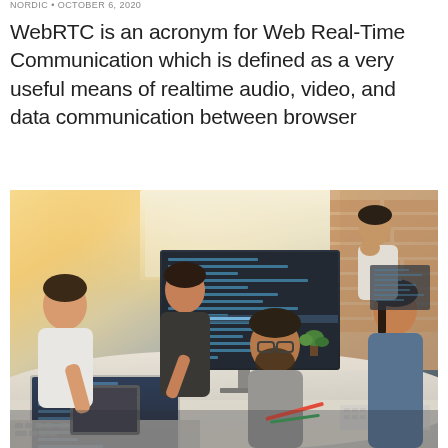NORDIC • OCTOBER 6, 2020
WebRTC is an acronym for Web Real-Time Communication which is defined as a very useful means of realtime audio, video, and data communication between browser
[Figure (photo): Group of young professionals working at computers around a table in a modern office with brick wall background]